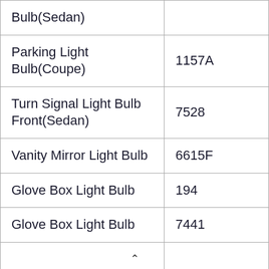|  |  |
| --- | --- |
| Bulb(Sedan) |  |
| Parking Light Bulb(Coupe) | 1157A |
| Turn Signal Light Bulb Front(Sedan) | 7528 |
| Vanity Mirror Light Bulb | 6615F |
| Glove Box Light Bulb | 194 |
| Glove Box Light Bulb | 7441 |
|  |  |